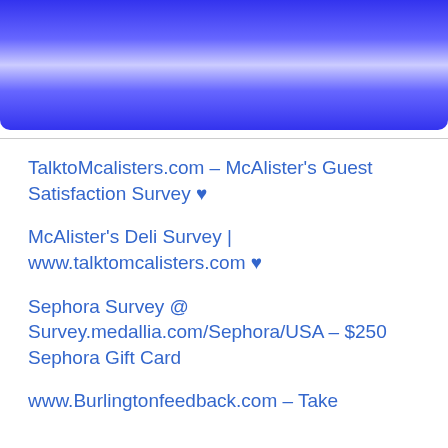Recent Posts
TalktoMcalisters.com – McAlister's Guest Satisfaction Survey ♥
McAlister's Deli Survey | www.talktomcalisters.com ♥
Sephora Survey @ Survey.medallia.com/Sephora/USA – $250 Sephora Gift Card
www.Burlingtonfeedback.com – Take